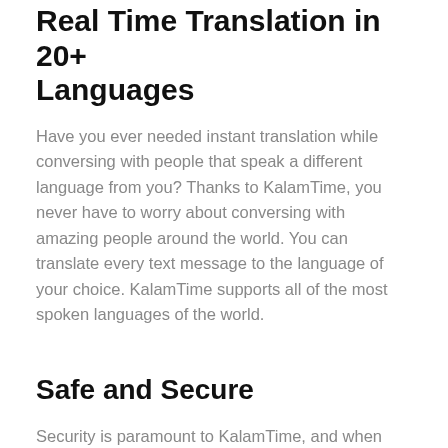Real Time Translation in 20+ Languages
Have you ever needed instant translation while conversing with people that speak a different language from you? Thanks to KalamTime, you never have to worry about conversing with amazing people around the world. You can translate every text message to the language of your choice. KalamTime supports all of the most spoken languages of the world.
Safe and Secure
Security is paramount to KalamTime, and when you choose KalamTime, you're choosing an instant messenger that prioritizes your safety. KalamTime employs state-of-the-art encryption technology to ensure that only you and the person you're in contact